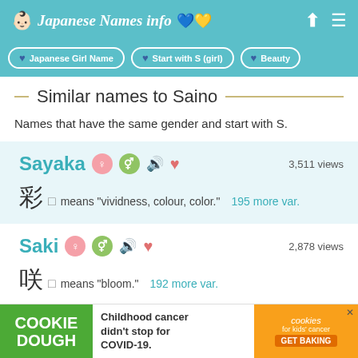Japanese Names info
Japanese Girl Name
Start with S (girl)
Beauty
Similar names to Saino
Names that have the same gender and start with S.
Sayaka — 3,511 views — 彩 means "vividness, colour, color." 195 more var.
Saki — 2,878 views — 咲 means "bloom." 192 more var.
[Figure (screenshot): Cookie Dough advertisement banner: 'Childhood cancer didn't stop for COVID-19. GET BAKING']